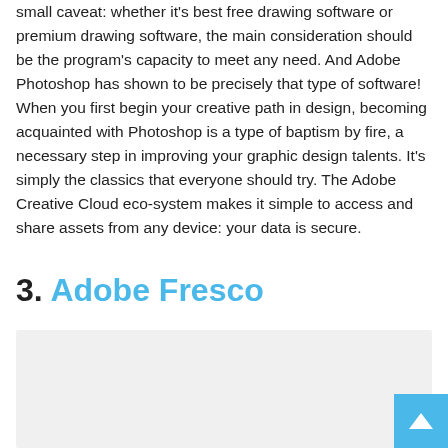small caveat: whether it's best free drawing software or premium drawing software, the main consideration should be the program's capacity to meet any need. And Adobe Photoshop has shown to be precisely that type of software! When you first begin your creative path in design, becoming acquainted with Photoshop is a type of baptism by fire, a necessary step in improving your graphic design talents. It's simply the classics that everyone should try. The Adobe Creative Cloud eco-system makes it simple to access and share assets from any device: your data is secure.
3. Adobe Fresco
[Figure (photo): Image placeholder for Adobe Fresco section, light gray background]